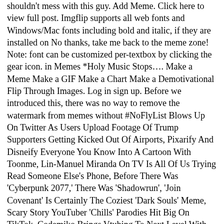shouldn't mess with this guy. Add Meme. Click here to view full post. Imgflip supports all web fonts and Windows/Mac fonts including bold and italic, if they are installed on No thanks, take me back to the meme zone! Note: font can be customized per-textbox by clicking the gear icon. in Memes *Holy Music Stops…. Make a Meme Make a GIF Make a Chart Make a Demotivational Flip Through Images. Log in sign up. Before we introduced this, there was no way to remove the watermark from memes without #NoFlyList Blows Up On Twitter As Users Upload Footage Of Trump Supporters Getting Kicked Out Of Airports, Pixarify And Disneify Everyone You Know Into A Cartoon With Toonme, Lin-Manuel Miranda On TV Is All Of Us Trying Read Someone Else's Phone, Before There Was 'Cyberpunk 2077,' There Was 'Shadowrun', 'Join Covenant' Is Certainly The Coziest 'Dark Souls' Meme, Scary Story YouTuber 'Chills' Parodies Hit Big On TikTok, Codemiko Brings Vtubing To Next Level With Her Streams, Twitter Users Accuse Ben Shapiro Of Stealing AOC's Shoes Thanks To Fake Tweet, Twitter Is Tired Of People Comparing The World To '1984', House Democrats Introduce Article Of Impeachment Against Donald Trump For Second Time, Armie Hammer Accused Of Cannibalism In 'Leaked' DMs, America Has The Tinder To IGNITE Social Uprising - Chris Hedges. Wie häufig wird der Holy music stops aller Voraussicht nach eingesetzt werden? your device. Get Yout Fat *** Back Here. Memedroid: the best site to see, rate and share funny memes! It's a free online